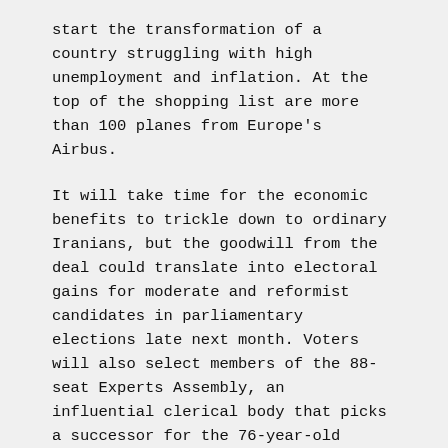start the transformation of a country struggling with high unemployment and inflation. At the top of the shopping list are more than 100 planes from Europe's Airbus.
It will take time for the economic benefits to trickle down to ordinary Iranians, but the goodwill from the deal could translate into electoral gains for moderate and reformist candidates in parliamentary elections late next month. Voters will also select members of the 88-seat Experts Assembly, an influential clerical body that picks a successor for the 76-year-old supreme leader, Ayatollah Ali Khamenei, in the event of his death.
Rouhani may have pushed for the rapid implementation